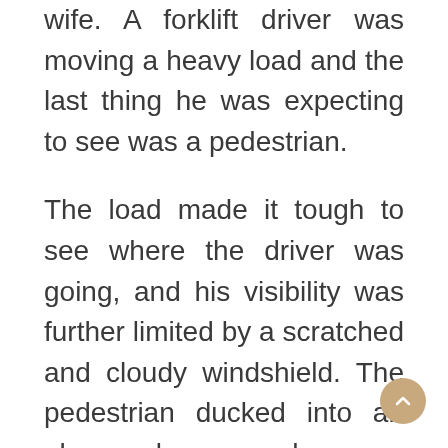wife. A forklift driver was moving a heavy load and the last thing he was expecting to see was a pedestrian.
The load made it tough to see where the driver was going, and his visibility was further limited by a scratched and cloudy windshield. The pedestrian ducked into an alcove because he was having trouble hearing his wife. Moments later, the driver dumped the load into the alcove